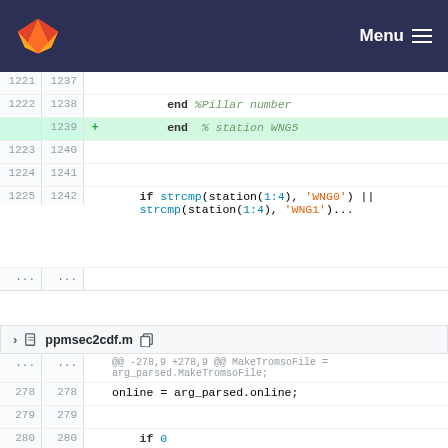GitLab header with logo and Menu
[Figure (screenshot): Code diff view showing lines 1221-1242 with 'end %Pillar number', 'end % station WNG5' (added), and 'if strcmp(station(1:4), WNG0) || strcmp(station(1:4), WNG1)...' code block]
[Figure (screenshot): File header for ppmsec2cdf.m with diff showing lines 278-281: online = arg_parsed.online; if online == 0; removed line with tmp=datevec(datenum(arg_parsed.starttime,'yyyy-mm-dd')); and added line 281]